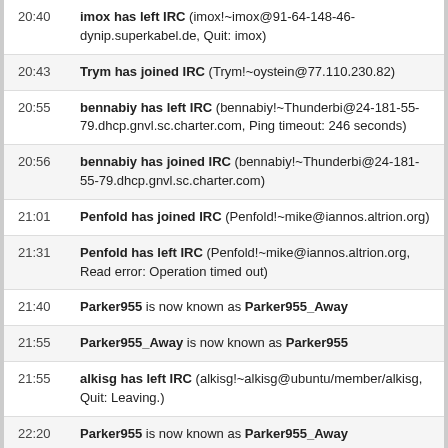20:40  imox has left IRC (imox!~imox@91-64-148-46-dynip.superkabel.de, Quit: imox)
20:43  Trym has joined IRC (Trym!~oystein@77.110.230.82)
20:55  bennabiy has left IRC (bennabiy!~Thunderbi@24-181-55-79.dhcp.gnvl.sc.charter.com, Ping timeout: 246 seconds)
20:56  bennabiy has joined IRC (bennabiy!~Thunderbi@24-181-55-79.dhcp.gnvl.sc.charter.com)
21:01  Penfold has joined IRC (Penfold!~mike@iannos.altrion.org)
21:31  Penfold has left IRC (Penfold!~mike@iannos.altrion.org, Read error: Operation timed out)
21:40  Parker955 is now known as Parker955_Away
21:55  Parker955_Away is now known as Parker955
21:55  alkisg has left IRC (alkisg!~alkisg@ubuntu/member/alkisg, Quit: Leaving.)
22:20  Parker955 is now known as Parker955_Away